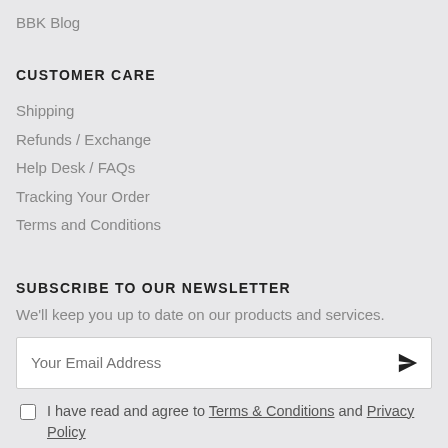BBK Blog
CUSTOMER CARE
Shipping
Refunds / Exchange
Help Desk / FAQs
Tracking Your Order
Terms and Conditions
SUBSCRIBE TO OUR NEWSLETTER
We'll keep you up to date on our products and services.
Your Email Address
I have read and agree to Terms & Conditions and Privacy Policy